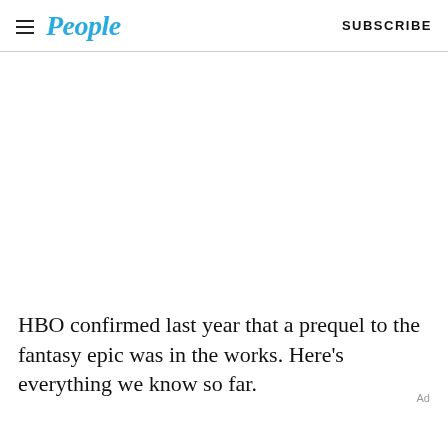People   SUBSCRIBE
HBO confirmed last year that a prequel to the fantasy epic was in the works. Here’s everything we know so far.